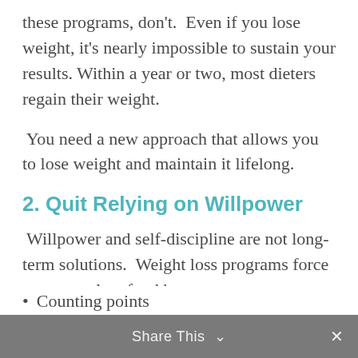these programs, don't.  Even if you lose weight, it's nearly impossible to sustain your results. Within a year or two, most dieters regain their weight.
You need a new approach that allows you to lose weight and maintain it lifelong.
2. Quit Relying on Willpower
Willpower and self-discipline are not long-term solutions.  Weight loss programs force you to eat less food by....
Share This  ×
Counting points